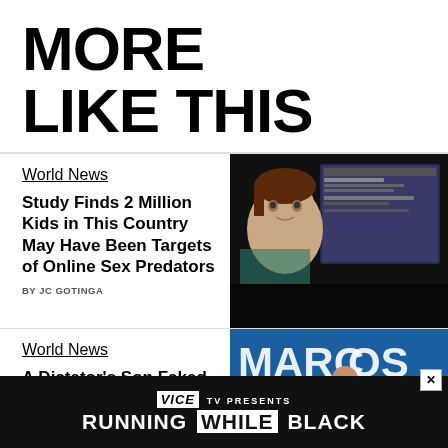MORE LIKE THIS
World News
Study Finds 2 Million Kids in This Country May Have Been Targets of Online Sex Predators
BY JC GOTINGA
[Figure (photo): A child's face on a screen, dark background with a computer monitor showing social media in the background]
World News
A Dictator's Son Faked His Family History. Now He Could Win the Presidency
[Figure (photo): A man in a red shirt speaking at a microphone at a political rally with MARCOS signage]
[Figure (infographic): VICE TV PRESENTS - RUNNING WHILE BLACK advertisement banner]